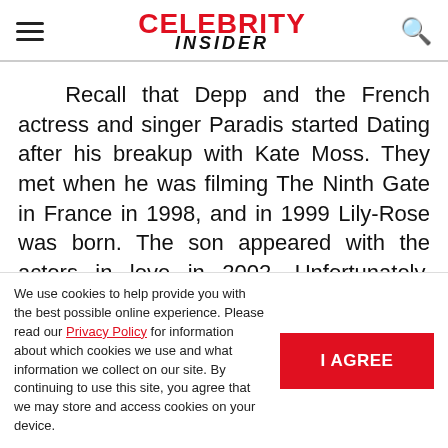CELEBRITY INSIDER
Recall that Depp and the French actress and singer Paradis started Dating after his breakup with Kate Moss. They met when he was filming The Ninth Gate in France in 1998, and in 1999 Lily-Rose was born. The son appeared with the actors in love in 2002. Unfortunately, Johnny and
We use cookies to help provide you with the best possible online experience. Please read our Privacy Policy for information about which cookies we use and what information we collect on our site. By continuing to use this site, you agree that we may store and access cookies on your device.